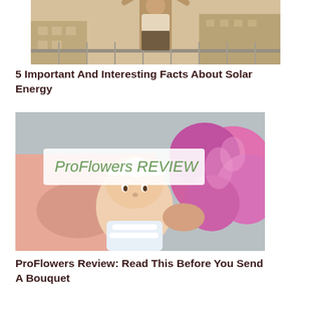[Figure (photo): Person standing on a balcony with arms raised, buildings in background, warm sunlit tone]
5 Important And Interesting Facts About Solar Energy
[Figure (photo): ProFlowers REVIEW image showing a baby smelling bright pink flowers held by an adult, with a handwritten-style ProFlowers REVIEW label overlay]
ProFlowers Review: Read This Before You Send A Bouquet